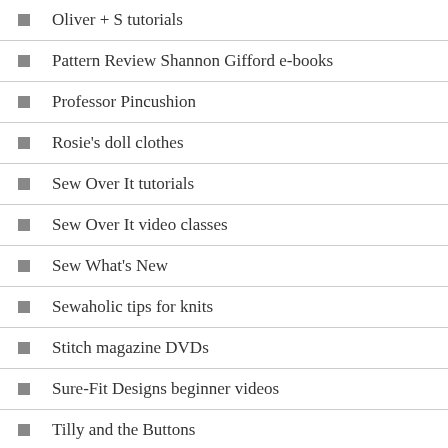Oliver + S tutorials
Pattern Review Shannon Gifford e-books
Professor Pincushion
Rosie's doll clothes
Sew Over It tutorials
Sew Over It video classes
Sew What's New
Sewaholic tips for knits
Stitch magazine DVDs
Sure-Fit Designs beginner videos
Tilly and the Buttons